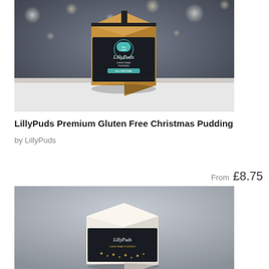[Figure (photo): Product photo of LillyPuds Christmas Pudding in a brown kraft box with black branded label, set on a white wooden surface with bokeh fairy lights in the background]
LillyPuds Premium Gluten Free Christmas Pudding
by LillyPuds
From £8.75
[Figure (photo): Second product photo of a LillyPuds Christmas Pudding box with black and white packaging, on a grey background]